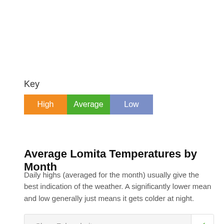Key
[Figure (infographic): Color key legend with three colored boxes labeled High (orange), Average (green), and Low (blue-purple)]
Average Lomita Temperatures by Month
Daily highs (averaged for the month) usually give the best indication of the weather. A significantly lower mean and low generally just means it gets colder at night.
Show Fahrenheit